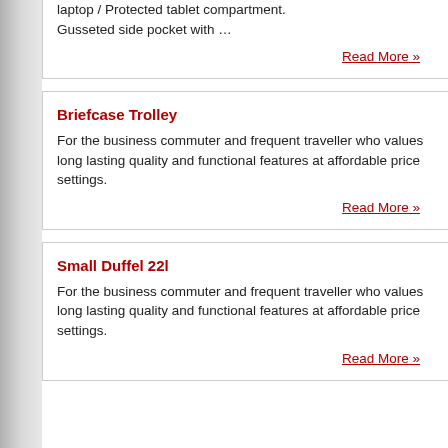… laptop / Protected tablet compartment. Gusseted side pocket with …
Read More »
Briefcase Trolley
For the business commuter and frequent traveller who values long lasting quality and functional features at affordable price settings.
Read More »
Small Duffel 22l
For the business commuter and frequent traveller who values long lasting quality and functional features at affordable price settings.
Read More »